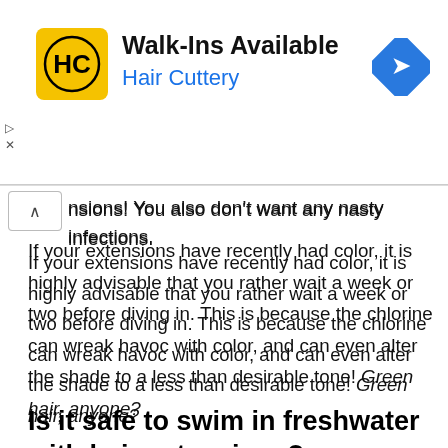[Figure (infographic): Hair Cuttery advertisement banner with yellow HC logo, text 'Walk-Ins Available' and 'Hair Cuttery', and a blue diamond navigation icon on the right.]
…nsions! You also don't want any nasty infections.
If your extensions have recently had color, it is highly advisable that you rather wait a week or two before diving in. This is because the chlorine can wreak havoc with color, and can even alter the shade to a less than desirable tone! Green hair, anyone?
Is it safe to swim in freshwater with hair extensions?
Freshwater is by far the “safest” water that your hair can come in to contact with, as it as the least chemicals.